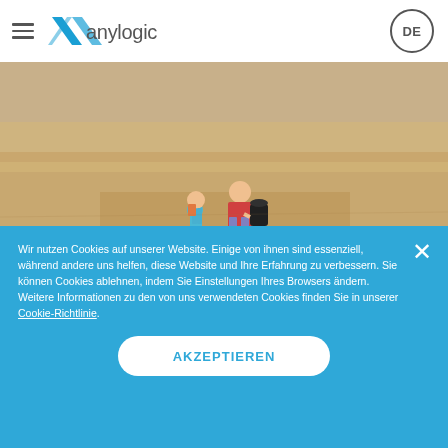AnyLogic logo header with hamburger menu and DE language button
[Figure (photo): Aerial/outdoor photo of an adult and child walking on pavement, carrying backpacks and luggage]
To increase profit, airlines seek to minimize turnaround time. Turnaround time is attributed to multiple factors, disembarkation, baggage unloading,
Wir nutzen Cookies auf unserer Website. Einige von ihnen sind essenziell, während andere uns helfen, diese Website und Ihre Erfahrung zu verbessern. Sie können Cookies ablehnen, indem Sie Einstellungen Ihres Browsers ändern. Weitere Informationen zu den von uns verwendeten Cookies finden Sie in unserer Cookie-Richtlinie.
AKZEPTIEREN